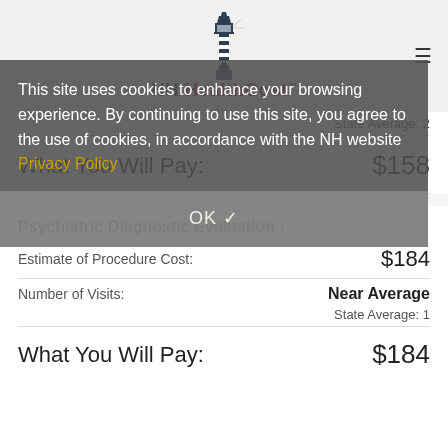[Figure (logo): NH HealthCost lighthouse logo with text]
State Average: 2
What You Will Pay: $158
Psychiatric Diagnostic Evaluation >
Estimate of Procedure Cost: $184
Number of Visits: Near Average
State Average: 1
What You Will Pay: $184
This site uses cookies to enhance your browsing experience. By continuing to use this site, you agree to the use of cookies, in accordance with the NH website Privacy Policy
OK ✓